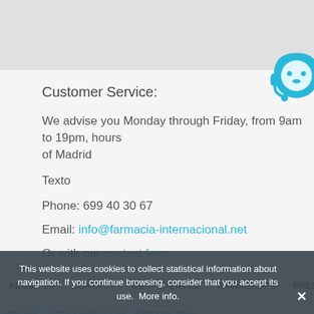[Figure (illustration): Cyan customer service agent icon with headset]
Customer Service:
We advise you Monday through Friday, from 9am to 19pm, hours of Madrid
Texto
Phone: 699 40 30 67
Email: info@farmacia-internacional.net
Or with our contact form
ABOUT US   CONTACT   CONFERENCES   WORKSHOPS   PRESENTATION
Legal Notice   Terms and conditions of use   Shipping and Returns
This website uses cookies to collect statistical information about navigation. If you continue browsing, consider that you accept its use.  More info.